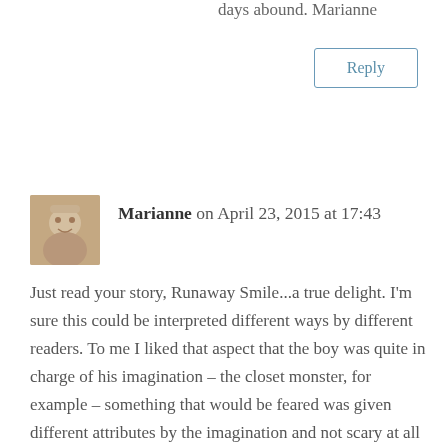days abound. Marianne
Reply
Marianne on April 23, 2015 at 17:43
Just read your story, Runaway Smile...a true delight. I'm sure this could be interpreted different ways by different readers. To me I liked that aspect that the boy was quite in charge of his imagination – the closet monster, for example – something that would be feared was given different attributes by the imagination and not scary at all for a boy. I'm not sure that's what I should have read from it, but....